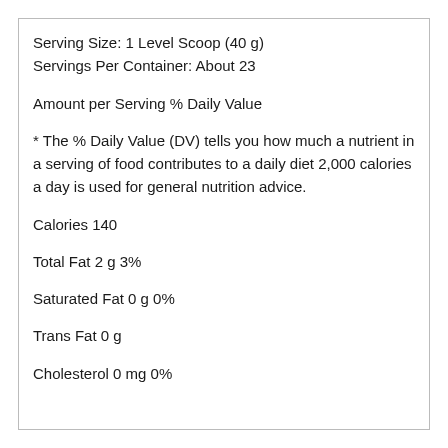Serving Size: 1 Level Scoop (40 g)
Servings Per Container: About 23
Amount per Serving % Daily Value
* The % Daily Value (DV) tells you how much a nutrient in a serving of food contributes to a daily diet 2,000 calories a day is used for general nutrition advice.
Calories 140
Total Fat 2 g 3%
Saturated Fat 0 g 0%
Trans Fat 0 g
Cholesterol 0 mg 0%